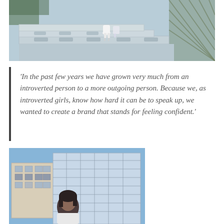[Figure (photo): Fashion photo showing white boots/heels standing on concrete bleacher steps with a chain-link fence in the background, blue-tinted image]
‘In the past few years we have grown very much from an introverted person to a more outgoing person. Because we, as introverted girls, know how hard it can be to speak up, we wanted to create a brand that stands for feeling confident.’
[Figure (photo): Photo of a dark-haired woman standing in front of a multi-story modern building with large windows, blue sky background]